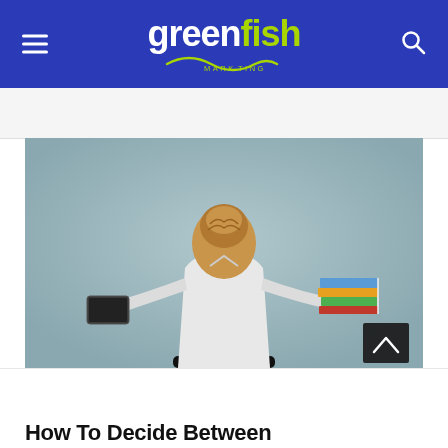greenfish MARKETING
[Figure (photo): Woman viewed from behind, seated in an office chair, holding a tablet in her left hand and a stack of books in her right hand, against a grey-blue background.]
How To Decide Between